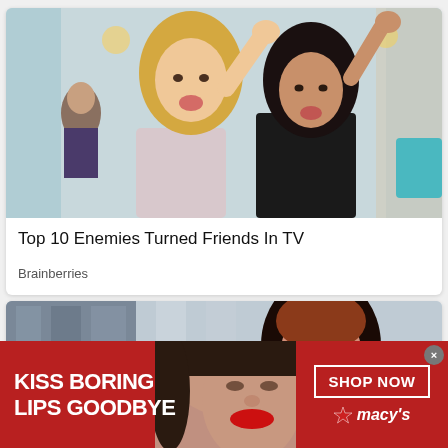[Figure (photo): Two women smiling and waving at the camera in a restaurant-like setting. The woman on the left has long blonde hair and wears a pale pink sleeveless top; the woman on the right has dark hair and wears a dark floral dress.]
Top 10 Enemies Turned Friends In TV
Brainberries
[Figure (photo): Split view of two women; left portion shows a blurred image, right portion shows a close-up of an Asian woman with auburn/red hair, gold earrings, and red lipstick.]
[Figure (advertisement): Macy's ad banner with dark red background. Left text: KISS BORING LIPS GOODBYE. Center: close-up photo of a woman with red lips. Right: SHOP NOW button and Macy's star logo.]